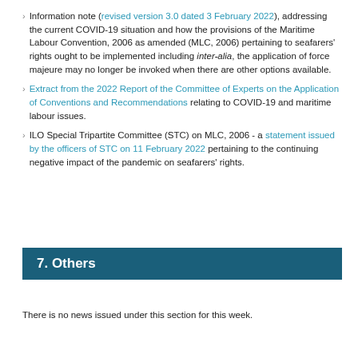Information note (revised version 3.0 dated 3 February 2022), addressing the current COVID-19 situation and how the provisions of the Maritime Labour Convention, 2006 as amended (MLC, 2006) pertaining to seafarers' rights ought to be implemented including inter-alia, the application of force majeure may no longer be invoked when there are other options available.
Extract from the 2022 Report of the Committee of Experts on the Application of Conventions and Recommendations relating to COVID-19 and maritime labour issues.
ILO Special Tripartite Committee (STC) on MLC, 2006 - a statement issued by the officers of STC on 11 February 2022 pertaining to the continuing negative impact of the pandemic on seafarers' rights.
7. Others
There is no news issued under this section for this week.